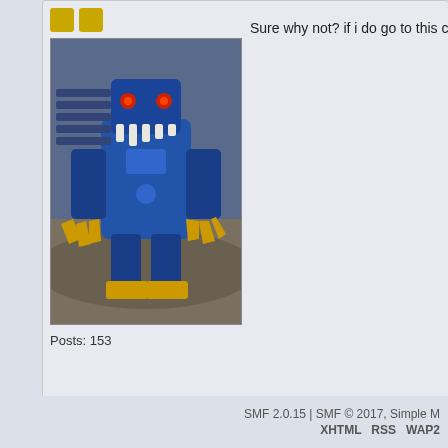[Figure (screenshot): Two gold square icon badges in user profile area]
[Figure (photo): Avatar image showing a blue robotic/mech creature with golden claws against a rocky background]
Posts: 153
Sure why not? if i do go to this con ill be s
Pages: 1 ... 4 5 [6]  All   Go Up
Kumoricon » Convention Events and Programming » Get Involved » Plan Your Own Adv
SMF 2.0.15 | SMF © 2017, Simple M
XHTML   RSS   WAP2